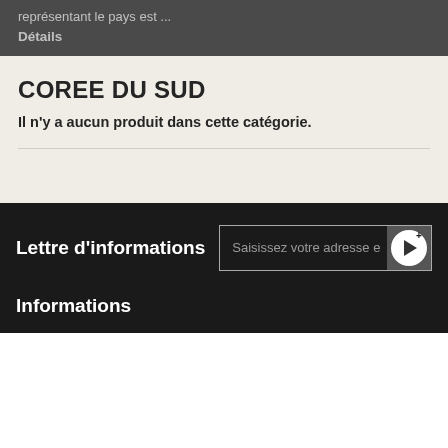représentant le pays est ...
Détails
COREE DU SUD
Il n'y a aucun produit dans cette catégorie.
Lettre d'informations
Saisissez votre adresse e
Informations